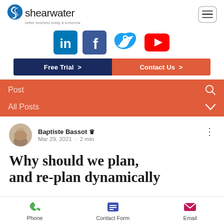[Figure (logo): Shearwater logo with swirl icon and text 'shearwater - better business today & tomorrow']
[Figure (infographic): Social media icons: LinkedIn, Facebook, Twitter, YouTube]
[Figure (infographic): CTA buttons: 'Free Trial >' in dark navy and 'Contact Us >' in salmon/orange]
[Figure (screenshot): Red-orange search/filter bar with 'Post' search field and 'All Posts' dropdown]
Baptiste Bassot ♔ Mar 29, 2021 · 2 min
Why should we plan, and re-plan dynamically
[Figure (infographic): Bottom navigation bar with Phone, Contact Form, and Email icons]